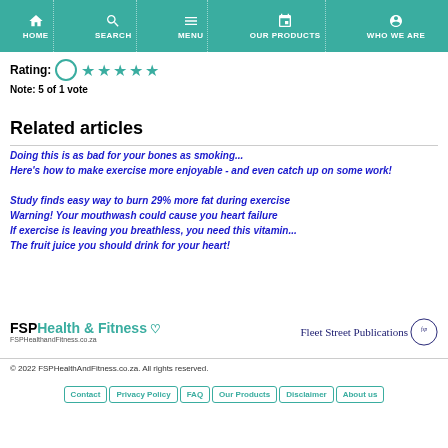HOME | SEARCH | MENU | OUR PRODUCTS | WHO WE ARE
Rating: Note: 5 of 1 vote
Related articles
Doing this is as bad for your bones as smoking...
Here's how to make exercise more enjoyable - and even catch up on some work!
Study finds easy way to burn 29% more fat during exercise
Warning! Your mouthwash could cause you heart failure
If exercise is leaving you breathless, you need this vitamin...
The fruit juice you should drink for your heart!
[Figure (logo): FSP Health & Fitness logo with heart icon and FSPHealthandFitness.co.za URL, and Fleet Street Publications logo with fsp badge]
© 2022 FSPHealthAndFitness.co.za. All rights reserved.
Contact | Privacy Policy | FAQ | Our Products | Disclaimer | About us